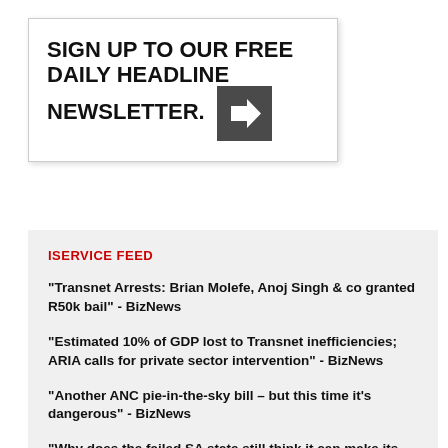SIGN UP TO OUR FREE DAILY HEADLINE NEWSLETTER.
ISERVICE FEED
"Transnet Arrests: Brian Molefe, Anoj Singh & co granted R50k bail" - BizNews
"Estimated 10% of GDP lost to Transnet inefficiencies; ARIA calls for private sector intervention" - BizNews
"Another ANC pie-in-the-sky bill – but this time it's dangerous" - BizNews
"Why does the failed SA state still think it can make its schools work?" - BizNews